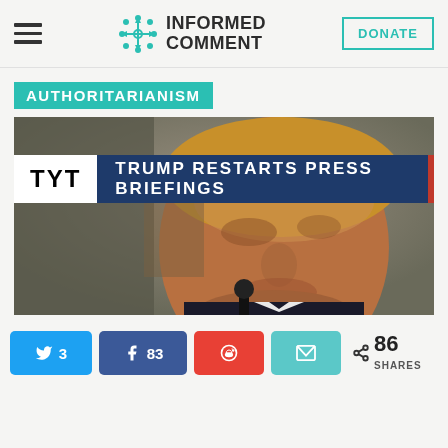INFORMED COMMENT
AUTHORITARIANISM
[Figure (screenshot): TYT news screenshot overlay on photo of man at microphone with banner reading TRUMP RESTARTS PRESS BRIEFINGS]
3  83  86 SHARES